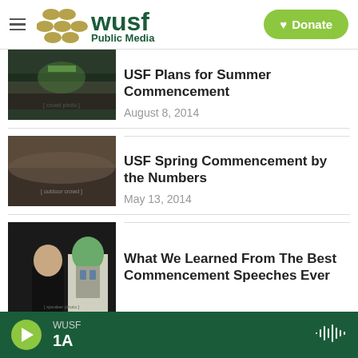WUSF Public Media — Donate
[Figure (photo): Aerial view of a large graduation ceremony crowd inside an arena, green stage lighting visible]
USF Plans for Summer Commencement
August 8, 2014
[Figure (photo): Large crowd of graduates at an outdoor commencement ceremony, aerial view]
USF Spring Commencement by the Numbers
May 13, 2014
[Figure (photo): Speaker at a podium in academic regalia with a domed building in the background]
What We Learned From The Best Commencement Speeches Ever
WUSF 1A